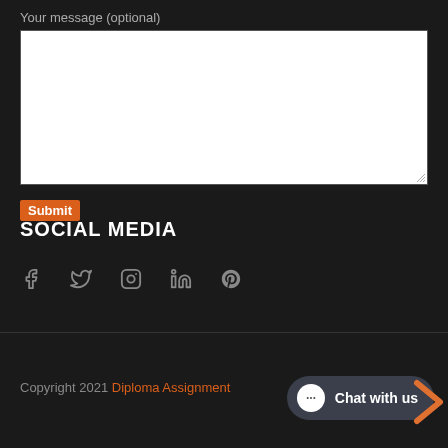Your message (optional)
[Figure (screenshot): White textarea input box for user message]
Submit
SOCIAL MEDIA
[Figure (infographic): Social media icons: Facebook, Twitter, Instagram, LinkedIn, Pinterest]
Copyright 2021 Diploma Assignment